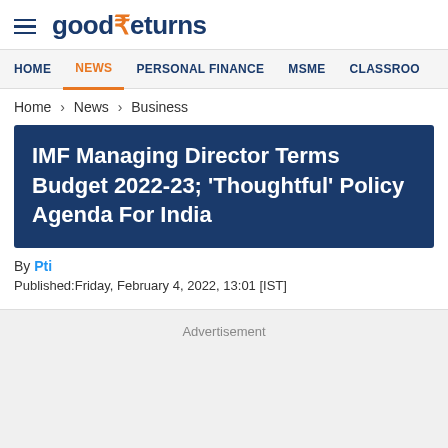good₹eturns
HOME | NEWS | PERSONAL FINANCE | MSME | CLASSROOM
Home > News > Business
IMF Managing Director Terms Budget 2022-23; 'Thoughtful' Policy Agenda For India
By Pti
Published:Friday, February 4, 2022, 13:01 [IST]
[Figure (infographic): Social sharing icons: Facebook (blue circle), Twitter (blue circle), WhatsApp (green circle), Telegram (cyan circle)]
Advertisement